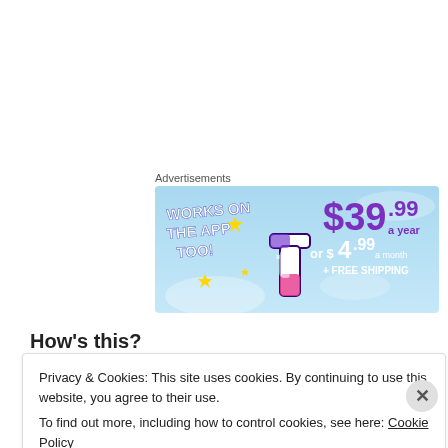Advertisements
[Figure (screenshot): Tumblr advertisement banner on a light blue sky background. Left side shows white bold text 'WORKS ON THE APP TOO!' with yellow sparkle/star decorations and the Tumblr 't' logo in purple/pink/white. Right side shows pricing: '$39.99 a year' in large purple text, 'or $4.99 a month' in white/purple text, '+ FREE SHIPPING' in white text.]
How's this?
Privacy & Cookies: This site uses cookies. By continuing to use this website, you agree to their use.
To find out more, including how to control cookies, see here: Cookie Policy